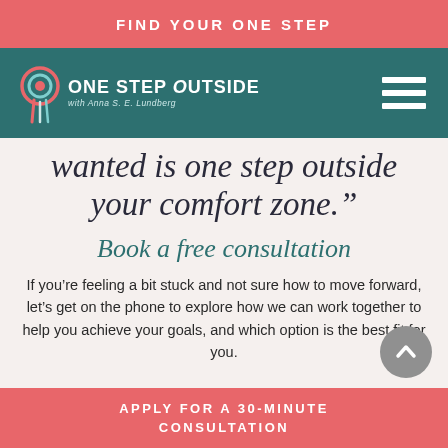FIND YOUR ONE STEP
[Figure (logo): One Step Outside logo with teal background, white text reading 'ONE STEP OUTSIDE with Anna S E Lundberg', decorative swirl icon, and hamburger menu icon on the right]
wanted is one step outside your comfort zone."
Book a free consultation
If you're feeling a bit stuck and not sure how to move forward, let's get on the phone to explore how we can work together to help you achieve your goals, and which option is the best fit for you.
APPLY FOR A 30-MINUTE CONSULTATION